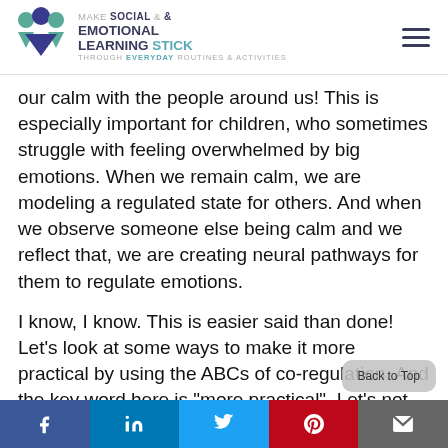Make Social & Emotional Learning Stick — Through Everyday Routines & Activities
our calm with the people around us! This is especially important for children, who sometimes struggle with feeling overwhelmed by big emotions. When we remain calm, we are modeling a regulated state for others. And when we observe someone else being calm and we reflect that, we are creating neural pathways for them to regulate emotions.
I know, I know. This is easier said than done! Let's look at some ways to make it more practical by using the ABCs of co-regulation. And the key word here is "more practical". Let's not expect perfection of ourselves or others, because managing emotions and co-
Facebook | LinkedIn | Twitter | Pinterest | Email